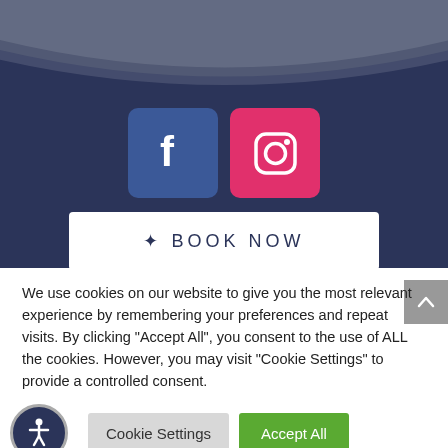[Figure (illustration): Dark navy blue curved banner background with social media icons (Facebook and Instagram) and a BOOK NOW button]
We use cookies on our website to give you the most relevant experience by remembering your preferences and repeat visits. By clicking "Accept All", you consent to the use of ALL the cookies. However, you may visit "Cookie Settings" to provide a controlled consent.
Cookie Settings
Accept All